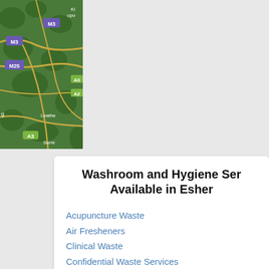[Figure (map): Satellite map showing road network around Esher/Surrey area including motorways M3, M25, A3, A2 and places Leatherhead, Kingston upon Thames, Surrey]
Washroom and Hygiene Services Available in Esher
Acupuncture Waste
Air Fresheners
Clinical Waste
Confidential Waste Services
Dental Waste
Drug Destruction
Dust Mats